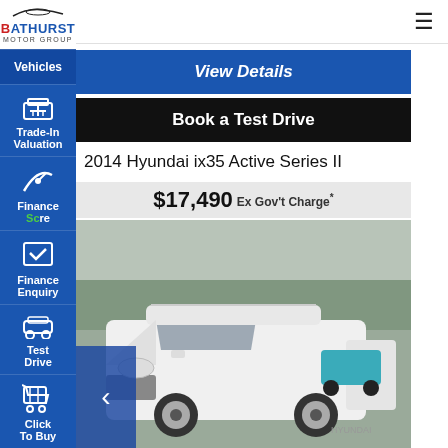[Figure (screenshot): Bathurst Motor Group dealership website screenshot showing vehicle listing for 2014 Hyundai ix35 Active Series II with navigation sidebar, View Details and Book a Test Drive buttons, price of $17,490 Ex Gov't Charge*, and a photo of a white SUV in a car lot.]
Bathurst Motor Group
Vehicles
Trade-In Valuation
Finance Score
Finance Enquiry
Test Drive
Click To Buy
View Details
Book a Test Drive
2014 Hyundai ix35 Active Series II
$17,490 Ex Gov't Charge*